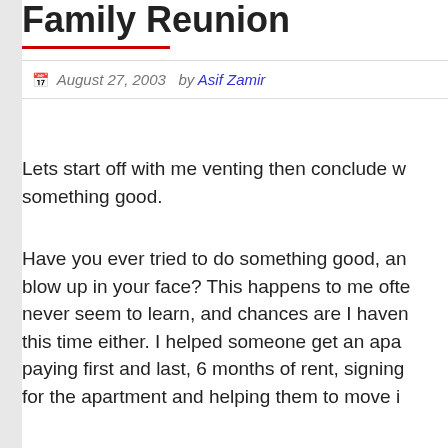Family Reunion
August 27, 2003  by Asif Zamir
Lets start off with me venting then conclude w something good.
Have you ever tried to do something good, an blow up in your face? This happens to me ofte never seem to learn, and chances are I haven this time either. I helped someone get an apa paying first and last, 6 months of rent, signing for the apartment and helping them to move i
The moving in was fun, because something g being done for someone with a baby. I've don many times before, and I will do this many tir The apartment was nice, it did need an initial as most do, and in a crawl space were many beer bottles. Eggbert, and I packed what see